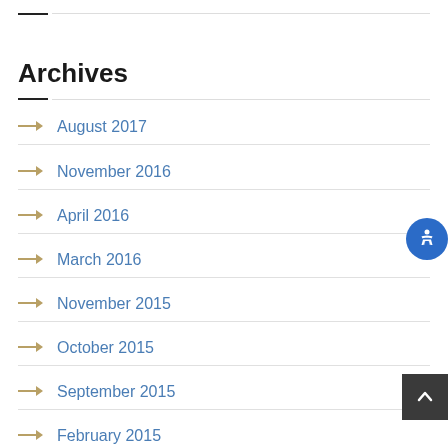Archives
August 2017
November 2016
April 2016
March 2016
November 2015
October 2015
September 2015
February 2015